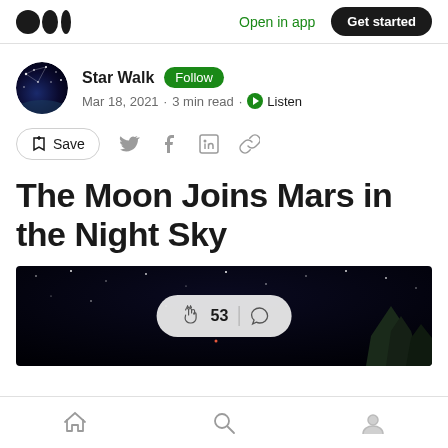Open in app | Get started
Star Walk · Follow · Mar 18, 2021 · 3 min read · Listen
Save
The Moon Joins Mars in the Night Sky
[Figure (photo): Night sky image showing stars and dark landscape with clap overlay showing 53 claps]
Home | Search | Profile navigation icons